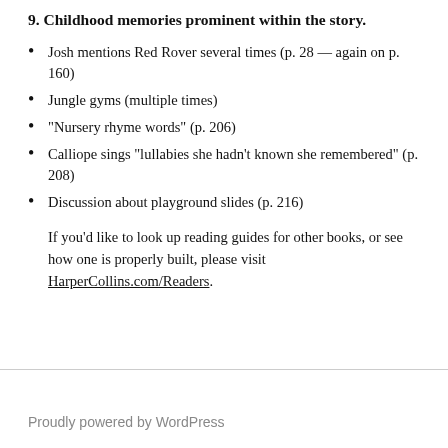9. Childhood memories prominent within the story.
Josh mentions Red Rover several times (p. 28 — again on p. 160)
Jungle gyms (multiple times)
“Nursery rhyme words” (p. 206)
Calliope sings “lullabies she hadn't known she remembered” (p. 208)
Discussion about playground slides (p. 216)
If you'd like to look up reading guides for other books, or see how one is properly built, please visit HarperCollins.com/Readers.
Proudly powered by WordPress